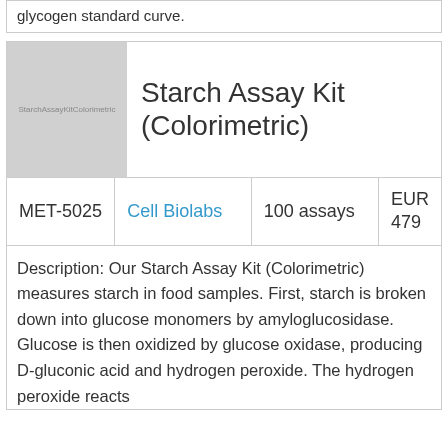glycogen standard curve.
[Figure (photo): Product image placeholder showing 'Starch Assay Kit Colorimetric' text on grey background]
Starch Assay Kit (Colorimetric)
| Cat# | Vendor | Quantity | Price |
| --- | --- | --- | --- |
| MET-5025 | Cell Biolabs | 100 assays | EUR 479 |
Description: Our Starch Assay Kit (Colorimetric) measures starch in food samples. First, starch is broken down into glucose monomers by amyloglucosidase. Glucose is then oxidized by glucose oxidase, producing D-gluconic acid and hydrogen peroxide. The hydrogen peroxide reacts